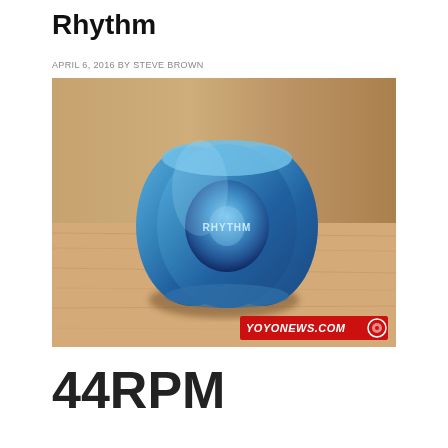Rhythm
APRIL 6, 2016 BY STEVE BROWN
[Figure (photo): A blue anodized aluminum yo-yo branded 'RHYTHM' sitting on a wooden surface, photographed against a blurred wood background. A YOYONEWS.COM watermark appears in the bottom right corner.]
44RPM